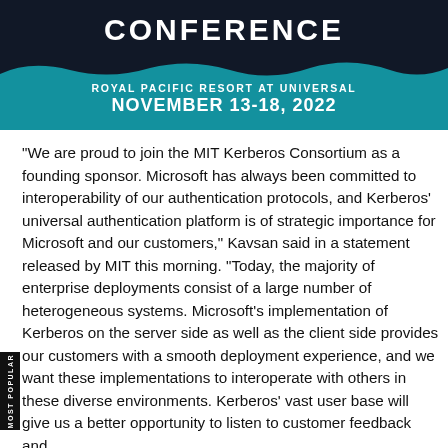[Figure (other): Conference banner showing 'CONFERENCE' in large bold white text on dark background, with teal wave section showing 'ROYAL PACIFIC RESORT AT UNIVERSAL' and 'NOVEMBER 13-18, 2022']
"We are proud to join the MIT Kerberos Consortium as a founding sponsor. Microsoft has always been committed to interoperability of our authentication protocols, and Kerberos' universal authentication platform is of strategic importance for Microsoft and our customers," Kavsan said in a statement released by MIT this morning. "Today, the majority of enterprise deployments consist of a large number of heterogeneous systems. Microsoft's implementation of Kerberos on the server side as well as the client side provides our customers with a smooth deployment experience, and we want these implementations to interoperate with others in these diverse environments. Kerberos' vast user base will give us a better opportunity to listen to customer feedback and help prioritize our contributions to future...